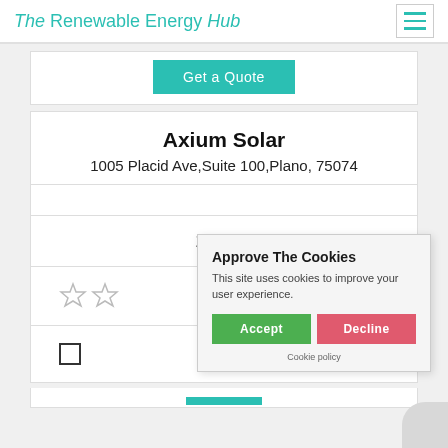The Renewable Energy Hub
Get a Quote
Axium Solar
1005 Placid Ave,Suite 100,Plano, 75074
170.68
[Figure (other): Two star rating icons (empty/outline stars)]
Approve The Cookies
This site uses cookies to improve your user experience.
Accept  Decline
Cookie policy